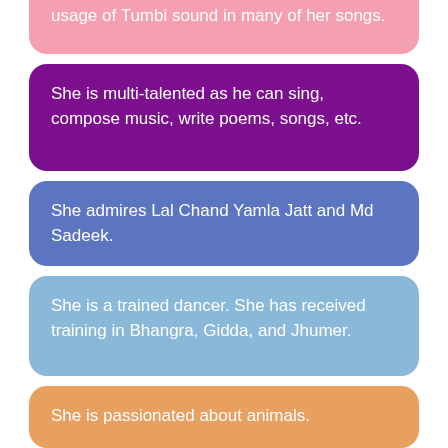usage of Tumbi sound in many of her songs.
She is multi-talented as he can sing, compose music, write poems, songs, etc.
She admires Lal Chand Yamla Jatt and Md Sadeek.
She is a trained dancer. She has received training in Bhangra, Gidda, and Jhumer.
She is passionated about animals.